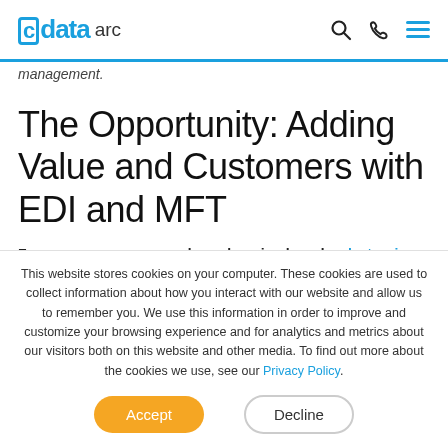cdata arc
management.
The Opportunity: Adding Value and Customers with EDI and MFT
For many ecommerce and warehousing brands, electronic
This website stores cookies on your computer. These cookies are used to collect information about how you interact with our website and allow us to remember you. We use this information in order to improve and customize your browsing experience and for analytics and metrics about our visitors both on this website and other media. To find out more about the cookies we use, see our Privacy Policy.
These comp... ... automatically...
Accept
Decline